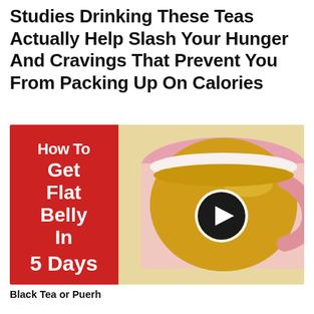Studies Drinking These Teas Actually Help Slash Your Hunger And Cravings That Prevent You From Packing Up On Calories
[Figure (photo): Thumbnail image split into two halves: left red background with white bold text reading 'How To Get Flat Belly In 5 Days'; right half shows a top-down photo of a white and pink mug filled with golden tea, with a circular play button overlay in the center.]
Black Tea or Puerh